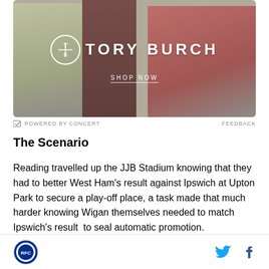[Figure (photo): Tory Burch advertisement banner showing three women in long dresses walking, with the Tory Burch logo and 'SHOP NOW' text overlay]
POWERED BY CONCERT   FEEDBACK
The Scenario
Reading travelled up the JJB Stadium knowing that they had to better West Ham's result against Ipswich at Upton Park to secure a play-off place, a task made that much harder knowing Wigan themselves needed to match Ipswich's result  to seal automatic promotion.